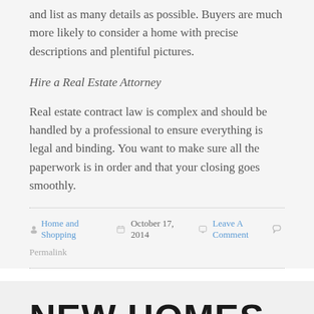and list as many details as possible. Buyers are much more likely to consider a home with precise descriptions and plentiful pictures.
Hire a Real Estate Attorney
Real estate contract law is complex and should be handled by a professional to ensure everything is legal and binding. You want to make sure all the paperwork is in order and that your closing goes smoothly.
Home and Shopping   October 17, 2014   Leave A Comment   Permalink
NEW HOMES